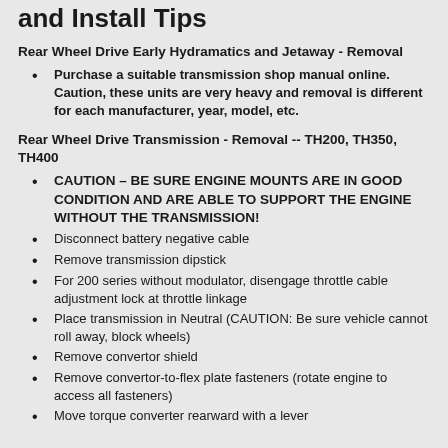and Install Tips
Rear Wheel Drive Early Hydramatics and Jetaway - Removal
Purchase a suitable transmission shop manual online.  Caution, these units are very heavy and removal is different for each manufacturer, year, model, etc.
Rear Wheel Drive Transmission - Removal -- TH200, TH350, TH400
CAUTION – BE SURE ENGINE MOUNTS ARE IN GOOD CONDITION AND ARE ABLE TO SUPPORT THE ENGINE WITHOUT THE TRANSMISSION!
Disconnect battery negative cable
Remove transmission dipstick
For 200 series without modulator, disengage throttle cable adjustment lock at throttle linkage
Place transmission in Neutral (CAUTION: Be sure vehicle cannot roll away, block wheels)
Remove convertor shield
Remove convertor-to-flex plate fasteners (rotate engine to access all fasteners)
Move torque converter rearward with a lever